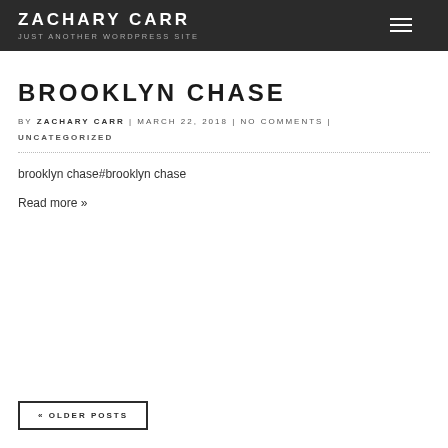ZACHARY CARR / JUST ANOTHER WORDPRESS SITE
BROOKLYN CHASE
BY ZACHARY CARR | MARCH 22, 2018 | NO COMMENTS | UNCATEGORIZED
brooklyn chase#brooklyn chase
Read more »
« OLDER POSTS